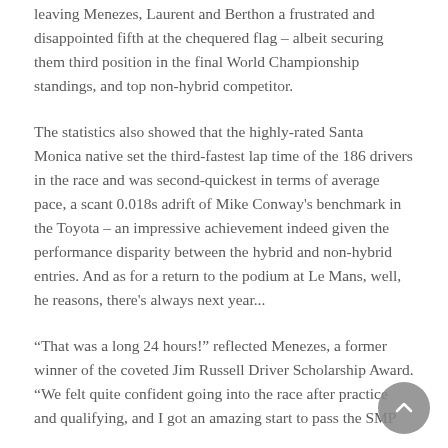leaving Menezes, Laurent and Berthon a frustrated and disappointed fifth at the chequered flag – albeit securing them third position in the final World Championship standings, and top non-hybrid competitor.
The statistics also showed that the highly-rated Santa Monica native set the third-fastest lap time of the 186 drivers in the race and was second-quickest in terms of average pace, a scant 0.018s adrift of Mike Conway's benchmark in the Toyota – an impressive achievement indeed given the performance disparity between the hybrid and non-hybrid entries. And as for a return to the podium at Le Mans, well, he reasons, there's always next year...
“That was a long 24 hours!” reflected Menezes, a former winner of the coveted Jim Russell Driver Scholarship Award. “We felt quite confident going into the race after practice and qualifying, and I got an amazing start to pass the SMP